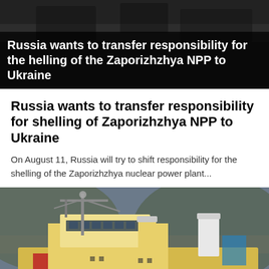[Figure (photo): Dark news photo background with white bold overlay text reading 'Russia wants to transfer responsibility for the shelling of the Zaporizhzhya NPP to Ukraine']
Russia wants to transfer responsibility for shelling of Zaporizhzhya NPP to Ukraine
On August 11, Russia will try to shift responsibility for the shelling of the Zaporizhzhya nuclear power plant...
[Figure (photo): Photograph of a large cargo or naval ship with yellow and white superstructure, cranes, masts and funnels visible, with a coastal hillside in the background]